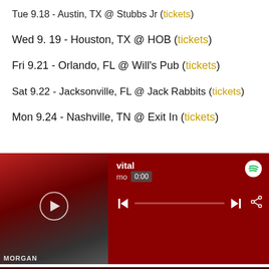Tue 9.18 - Austin, TX @ Stubbs Jr (tickets)
Wed 9. 19 - Houston, TX @ HOB (tickets)
Fri 9.21 - Orlando, FL @ Will's Pub (tickets)
Sat 9.22 - Jacksonville, FL @ Jack Rabbits (tickets)
Mon 9.24 - Nashville, TN @ Exit In (tickets)
[Figure (screenshot): Spotify music player showing album 'vital' by Morgan, currently at 0:00, with playback controls and progress bar.]
| # | Track | Duration |
| --- | --- | --- |
| 1 | translucent | 3:34 |
| 2 | me without you | 3:38 |
| 3 | carry the weight | 3:54 |
| 4 | alone/forever | 3:54 |
| 5 | xx | 3:35 |